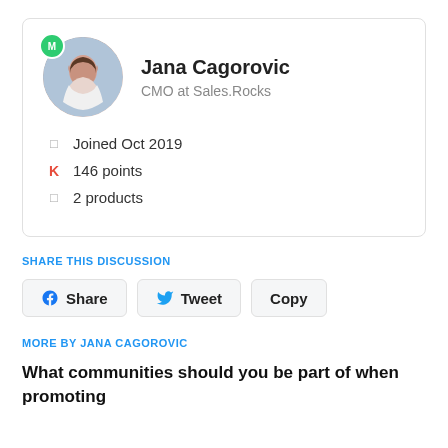[Figure (photo): Profile card with avatar photo of Jana Cagorovic (woman with long brown hair) and green M badge]
Jana Cagorovic
CMO at Sales.Rocks
Joined Oct 2019
146 points
2 products
SHARE THIS DISCUSSION
Share  Tweet  Copy
MORE BY JANA CAGOROVIC
What communities should you be part of when promoting